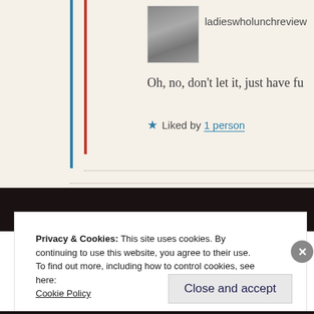ladieswholunchreview
Oh, no, don't let it, just have fu
★ Liked by 1 person
Privacy & Cookies: This site uses cookies. By continuing to use this website, you agree to their use.
To find out more, including how to control cookies, see here:
Cookie Policy
Close and accept